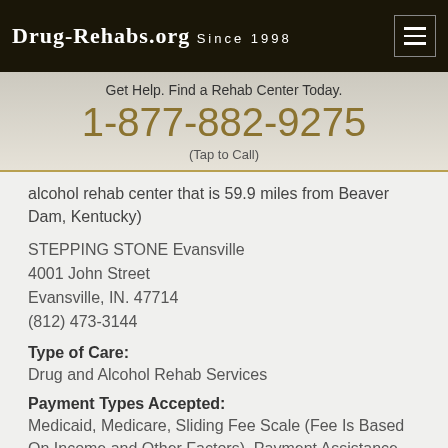DRUG-REHABS.ORG SINCE 1998
Get Help. Find a Rehab Center Today.
1-877-882-9275
(Tap to Call)
alcohol rehab center that is 59.9 miles from Beaver Dam, Kentucky)
STEPPING STONE Evansville
4001 John Street
Evansville, IN. 47714
(812) 473-3144
Type of Care:
Drug and Alcohol Rehab Services
Payment Types Accepted:
Medicaid, Medicare, Sliding Fee Scale (Fee Is Based On Income and Other Factors), Payment Assistance (Check With Facility For Details)